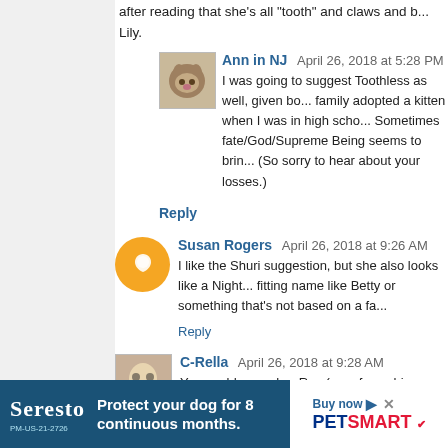after reading that she's all "tooth" and claws and b... Lily.
Ann in NJ  April 26, 2018 at 5:28 PM
I was going to suggest Toothless as well, given bo... family adopted a kitten when I was in high scho... Sometimes fate/God/Supreme Being seems to brin... (So sorry to hear about your losses.)
Reply
Susan Rogers  April 26, 2018 at 9:26 AM
I like the Shuri suggestion, but she also looks like a Night... fitting name like Betty or something that's not based on a fa...
Reply
C-Rella  April 26, 2018 at 9:28 AM
You could name her Rey (ray of sunshine, and, you k... lose your family members. :( Hugs.
[Figure (screenshot): Seresto and PetSmart advertisement banner at bottom of page]